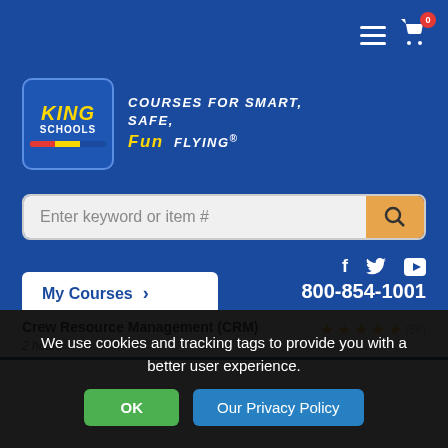[Figure (screenshot): King Schools website header with logo, navigation icons, search bar, My Courses button, social icons, and phone number]
Courses for Smart, Safe, Fun Flying
Enter keyword or item #
My Courses >
800-854-1001
Crew Resource Management (CRM)
2 hours
★★★★½ (58)
We use cookies and tracking tags to provide you with a better user experience.
OK
Our Privacy Policy